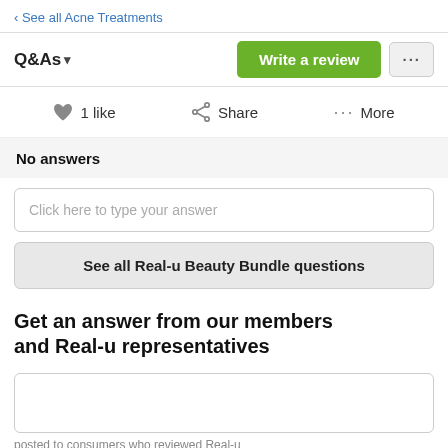‹ See all Acne Treatments
Q&As ▾
Write a review
...
♥ 1 like
Share
••• More
No answers
Click here to type your answer
See all Real-u Beauty Bundle questions
Get an answer from our members and Real-u representatives
posted to consumers who reviewed Real-u